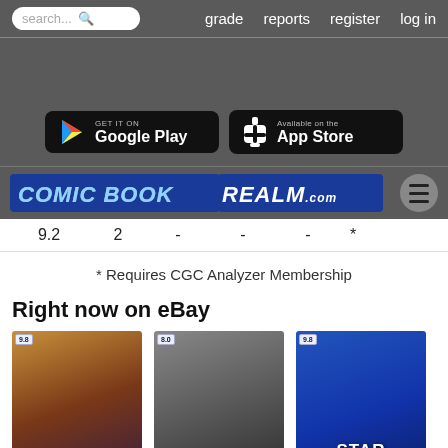search...  grade  reports  register  log in
[Figure (screenshot): Google Play and App Store download buttons on dark grey background]
[Figure (logo): Comic Book Realm .com logo with hamburger menu icon]
| 9.2 | 2 | - | - | - | * |
* Requires CGC Analyzer Membership
Right now on eBay
[Figure (photo): Star Wars: Kanan The Last Padawan #1 CGC 9.8 comic book in slab]
Star Wars: Kanan The Last Padawan 1 cgc 9.8  fresh
[Figure (photo): All-star Comics #58 CGC 8.0 comic book in slab]
All-star Comics #58 ❋ Cgc 8.0 Dcu Movie ❋ 1st App Of
[Figure (photo): Star Wars #43 CGC 9.8 comic book in slab]
Star Wars #43 Cgc 9.8 -white Pages- 1st App Lando